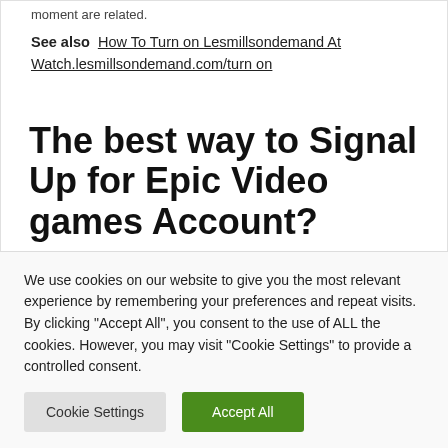moment are related.
See also  How To Turn on Lesmillsondemand At Watch.lesmillsondemand.com/turn on
The best way to Signal Up for Epic Video games Account?
You should first join an Epic video games account at
We use cookies on our website to give you the most relevant experience by remembering your preferences and repeat visits. By clicking "Accept All", you consent to the use of ALL the cookies. However, you may visit "Cookie Settings" to provide a controlled consent.
Cookie Settings
Accept All